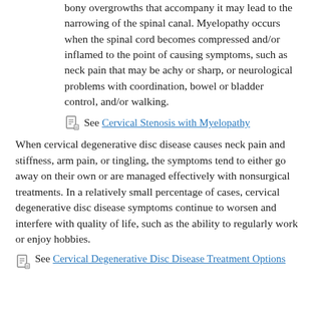bony overgrowths that accompany it may lead to the narrowing of the spinal canal. Myelopathy occurs when the spinal cord becomes compressed and/or inflamed to the point of causing symptoms, such as neck pain that may be achy or sharp, or neurological problems with coordination, bowel or bladder control, and/or walking.
See Cervical Stenosis with Myelopathy
When cervical degenerative disc disease causes neck pain and stiffness, arm pain, or tingling, the symptoms tend to either go away on their own or are managed effectively with nonsurgical treatments. In a relatively small percentage of cases, cervical degenerative disc disease symptoms continue to worsen and interfere with quality of life, such as the ability to regularly work or enjoy hobbies.
See Cervical Degenerative Disc Disease Treatment Options